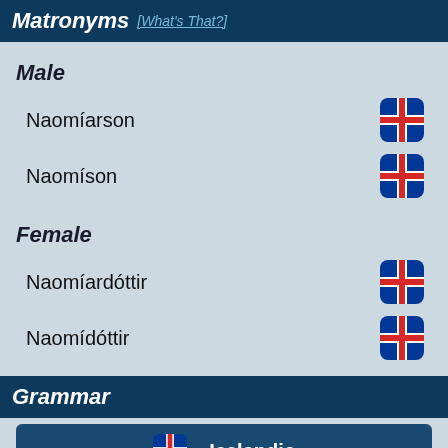Matronyms [What's That?]
Male
Naomíarson
Naomíson
Female
Naomíardóttir
Naomídóttir
Grammar
🇮🇸 - Icelandic
Nominative: Naomí